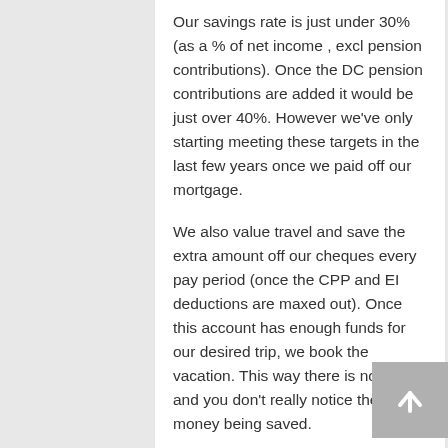Our savings rate is just under 30% (as a % of net income , excl pension contributions). Once the DC pension contributions are added it would be just over 40%. However we've only starting meeting these targets in the last few years once we paid off our mortgage.
We also value travel and save the extra amount off our cheques every pay period (once the CPP and EI deductions are maxed out). Once this account has enough funds for our desired trip, we book the vacation. This way there is no guilt and you don't really notice the money being saved.
There is definitely a fine balance